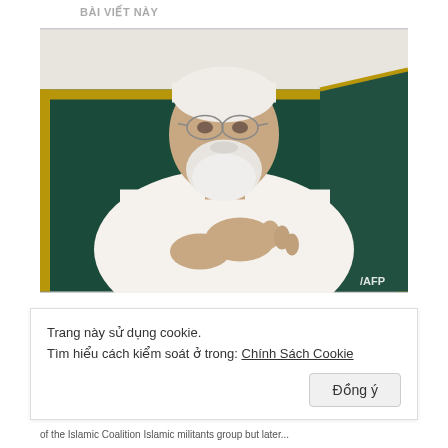BÀI VIẾT NÀY
[Figure (photo): Elderly man with white beard wearing white robe and glasses, sitting in front of a dark green cushion with gold trim, gesturing with hands while speaking. AFP watermark in bottom right corner.]
Trang này sử dụng cookie.
Tìm hiểu cách kiểm soát ở trong: Chính Sách Cookie
Đồng ý
of the Islamic Coalition Islamic militants group but later...